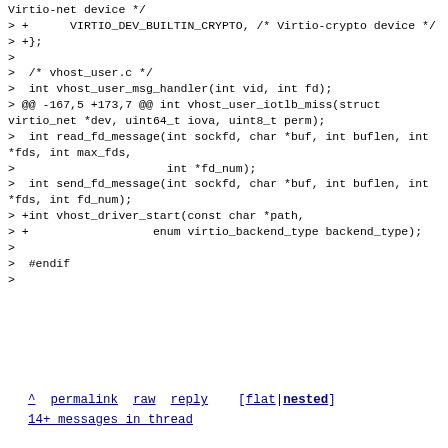Virtio-net device */
> +      VIRTIO_DEV_BUILTIN_CRYPTO, /* Virtio-crypto device */
> +};
>
>  /* vhost_user.c */
>  int vhost_user_msg_handler(int vid, int fd);
> @@ -167,5 +173,7 @@ int vhost_user_iotlb_miss(struct virtio_net *dev, uint64_t iova, uint8_t perm);
>  int read_fd_message(int sockfd, char *buf, int buflen, int *fds, int max_fds,
>                      int *fd_num);
>  int send_fd_message(int sockfd, char *buf, int buflen, int *fds, int fd_num);
> +int vhost_driver_start(const char *path,
> +                  enum virtio_backend_type backend_type);
>
>  #endif
>
^ permalink raw reply    [flat|nested] 14+ messages in thread